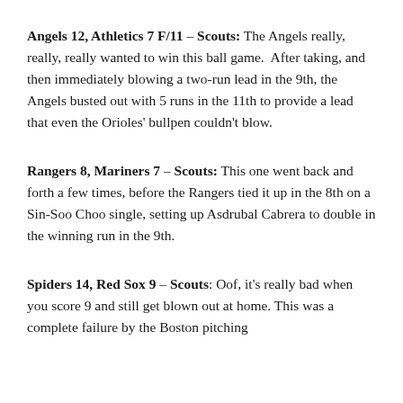Angels 12, Athletics 7 F/11 – Scouts: The Angels really, really, really wanted to win this ball game.  After taking, and then immediately blowing a two-run lead in the 9th, the Angels busted out with 5 runs in the 11th to provide a lead that even the Orioles' bullpen couldn't blow.
Rangers 8, Mariners 7 – Scouts: This one went back and forth a few times, before the Rangers tied it up in the 8th on a Sin-Soo Choo single, setting up Asdrubal Cabrera to double in the winning run in the 9th.
Spiders 14, Red Sox 9 – Scouts: Oof, it's really bad when you score 9 and still get blown out at home. This was a complete failure by the Boston pitching